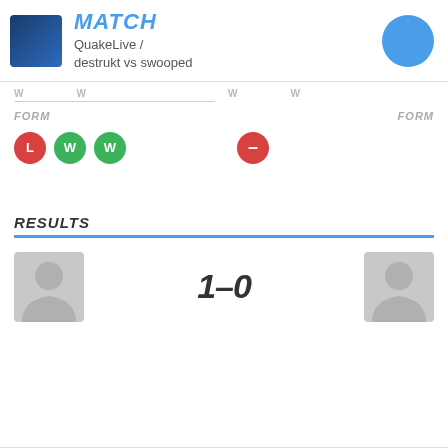[Figure (logo): Blue gradient square game icon]
MATCH
QuakeLive / destrukt vs swooped
[Figure (other): Blue circle icon top right]
FORM
[Figure (infographic): Form badges: L (red), W (green), W (green)]
FORM
[Figure (infographic): Form badge: dash (red)]
RESULTS
[Figure (infographic): Match result: player avatar left, score 1-0, player avatar right]